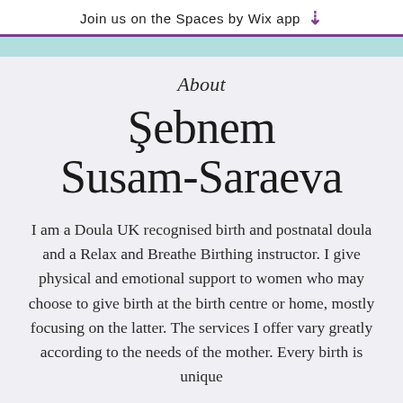Join us on the Spaces by Wix app ↓
About
Şebnem Susam-Saraeva
I am a Doula UK recognised birth and postnatal doula and a Relax and Breathe Birthing instructor. I give physical and emotional support to women who may choose to give birth at the birth centre or home, mostly focusing on the latter. The services I offer vary greatly according to the needs of the mother. Every birth is unique